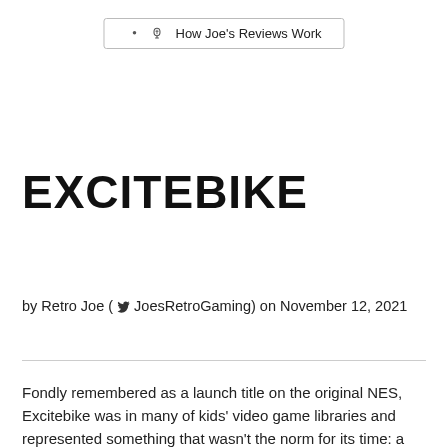💡 How Joe's Reviews Work
EXCITEBIKE
by Retro Joe (🐦 JoesRetroGaming) on November 12, 2021
Fondly remembered as a launch title on the original NES, Excitebike was in many of kids' video game libraries and represented something that wasn't the norm for its time: a smooth side-scrolling racing game.